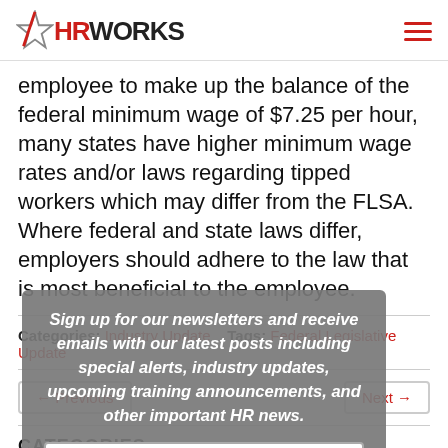HR Works
employee to make up the balance of the federal minimum wage of $7.25 per hour, many states have higher minimum wage rates and/or laws regarding tipped workers which may differ from the FLSA. Where federal and state laws differ, employers should adhere to the law that is most beneficial to the employee.
Categories: Industry Update   Tags: Federal Legislative Update
← Previous   Next →
CATEGORIES
Article
Blog Po...
Sign up for our newsletters and receive emails with our latest posts including special alerts, industry updates, upcoming training announcements, and other important HR news.
SUBSCRIBE